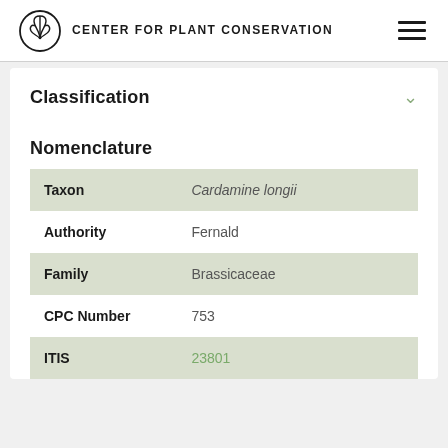CENTER FOR PLANT CONSERVATION
Classification
Nomenclature
| Field | Value |
| --- | --- |
| Taxon | Cardamine longii |
| Authority | Fernald |
| Family | Brassicaceae |
| CPC Number | 753 |
| ITIS | 23801 |